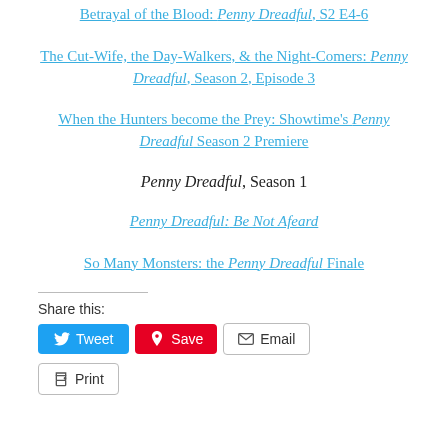Betrayal of the Blood: Penny Dreadful, S2 E4-6
The Cut-Wife, the Day-Walkers, & the Night-Comers: Penny Dreadful, Season 2, Episode 3
When the Hunters become the Prey: Showtime's Penny Dreadful Season 2 Premiere
Penny Dreadful, Season 1
Penny Dreadful: Be Not Afeard
So Many Monsters: the Penny Dreadful Finale
Share this:
Tweet  Save  Email  Print